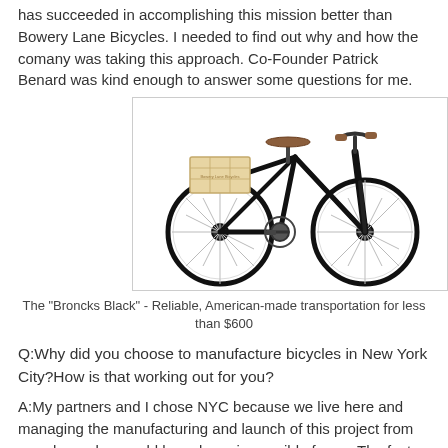has succeeded in accomplishing this mission better than Bowery Lane Bicycles. I needed to find out why and how the comany was taking this approach. Co-Founder Patrick Benard was kind enough to answer some questions for me.
[Figure (photo): A classic black city bicycle (the 'Broncks Black') with a brown leather saddle, upright handlebars with brown grips, a wooden crate mounted on the rear rack, and large spoked wheels.]
The "Broncks Black" - Reliable, American-made transportation for less than $600
Q:Why did you choose to manufacture bicycles in New York City?How is that working out for you?
A:My partners and I chose NYC because we live here and managing the manufacturing and launch of this project from anywhere else would have been impossible for us. The fact